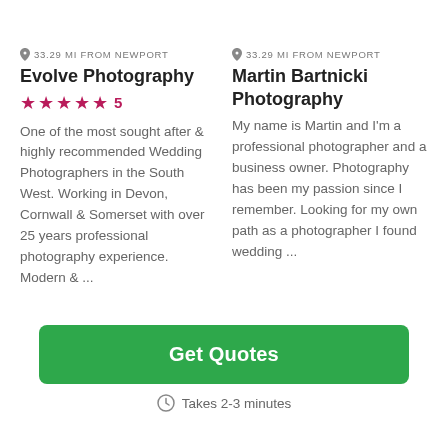33.29 MI FROM NEWPORT
Evolve Photography
★★★★★ 5
One of the most sought after & highly recommended Wedding Photographers in the South West. Working in Devon, Cornwall & Somerset with over 25 years professional photography experience. Modern & ...
33.29 MI FROM NEWPORT
Martin Bartnicki Photography
My name is Martin and I'm a professional photographer and a business owner. Photography has been my passion since I remember. Looking for my own path as a photographer I found wedding ...
Get Quotes
Takes 2-3 minutes